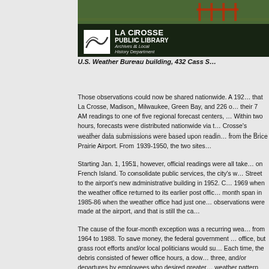[Figure (photo): Photograph of the La Crosse Public Library Archives & Local History Department header/banner with library logo, showing a building exterior in the background]
U.S. Weather Bureau building, 432 Cass S…
Those observations could now be shared nationwide.  A 192… that La Crosse, Madison, Milwaukee, Green Bay, and 226 o… their 7 AM readings to one of five regional forecast centers, … Within two hours, forecasts were distributed nationwide via t… Crosse's weather data submissions were based upon readin… from the Brice Prairie Airport.  From 1939-1950, the two sites…
Starting Jan. 1, 1951, however, official readings were all take… on French Island.  To consolidate public services, the city's w… Street to the airport's new administrative building in 1952.  C… 1969 when the weather office returned to its earlier post offic… month span in 1985-86 when the weather office had just one… observations were made at the airport, and that is still the ca…
The cause of the four-month exception was a recurring wea… from 1964 to 1988. To save money, the federal government … office, but grass root efforts and/or local politicians would su… Each time, the debris consisted of fewer office hours, a dow… three, and/or departures by employees who desired greater… weather pattern was documented eight times in La Crosse T…